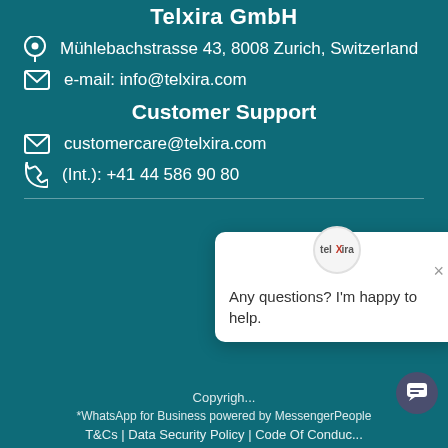Telxira GmbH
Mühlebachstrasse 43, 8008 Zurich, Switzerland
e-mail: info@telxira.com
Customer Support
customercare@telxira.com
(Int.): +41 44 586 90 80
[Figure (screenshot): Chat popup widget from Telxira with logo, close button, and message: Any questions? I'm happy to help.]
Copyright
*WhatsApp for Business powered by MessengerPeople
T&Cs | Data Security Policy | Code Of Conduct